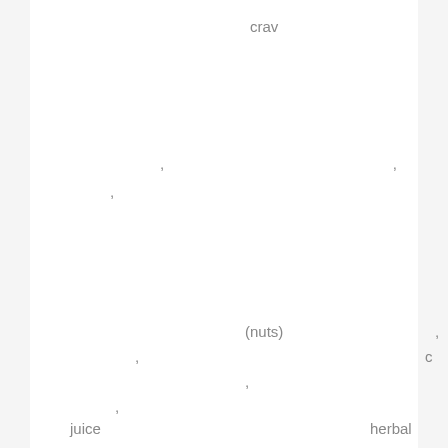crav
, , , , ,
, ,
(nuts) ,
, c
, , ,
, , ,
herbal
juice